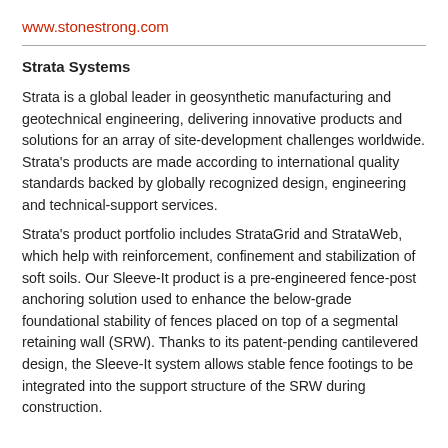www.stonestrong.com
Strata Systems
Strata is a global leader in geosynthetic manufacturing and geotechnical engineering, delivering innovative products and solutions for an array of site-development challenges worldwide. Strata's products are made according to international quality standards backed by globally recognized design, engineering and technical-support services.
Strata's product portfolio includes StrataGrid and StrataWeb, which help with reinforcement, confinement and stabilization of soft soils. Our Sleeve-It product is a pre-engineered fence-post anchoring solution used to enhance the below-grade foundational stability of fences placed on top of a segmental retaining wall (SRW). Thanks to its patent-pending cantilevered design, the Sleeve-It system allows stable fence footings to be integrated into the support structure of the SRW during construction.